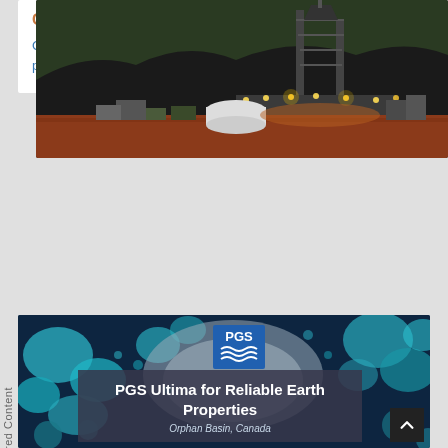[Figure (photo): Night photo of an oil drilling rig with lights illuminated, red earth foreground, dark forest background]
Oklahoma Plays Offer Untapped Potential
Oklahoma! As-yet unlocked SCOOP and STACK plays have plen&r...
[Figure (photo): PGS advertisement showing seismic/geological map imagery with turquoise and blue tones, PGS logo, text: PGS Ultima for Reliable Earth Properties, Orphan Basin, Canada]
Sponsored Content